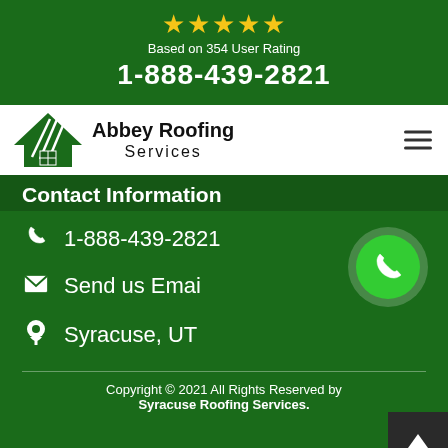[Figure (infographic): Five gold stars rating display]
Based on 354 User Rating
1-888-439-2821
[Figure (logo): Abbey Roofing Services logo with green house/roof icon]
Contact Information
1-888-439-2821
Send us Emai
Syracuse, UT
Copyright © 2021 All Rights Reserved by Syracuse Roofing Services.